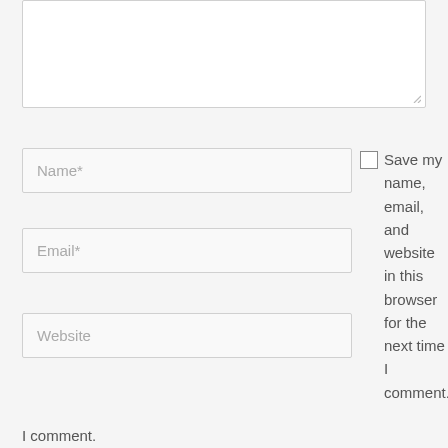[Figure (screenshot): A web comment form showing a textarea at the top, followed by Name*, Email*, and Website input fields on the left, a checkbox with 'Save my name, email, and website in this browser for the next time I comment.' text on the right, rendered on a light gray background.]
Name*
Email*
Website
Save my name, email, and website in this browser for the next time I comment.